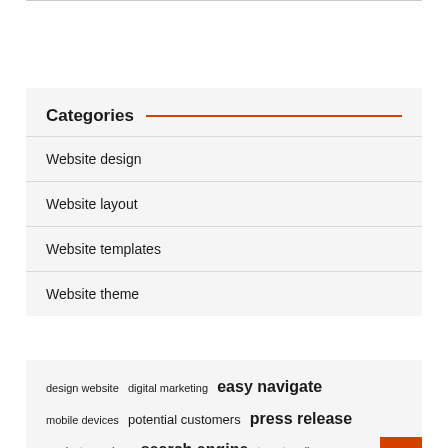Categories
Website design
Website layout
Website templates
Website theme
design website  digital marketing  easy navigate  mobile devices  potential customers  press release  products services  search engine  target audience